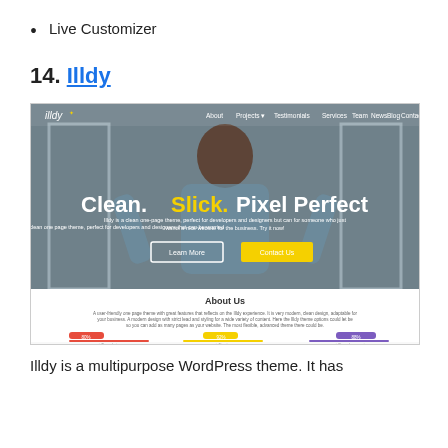Live Customizer
14. Illdy
[Figure (screenshot): Screenshot of the Illdy WordPress theme showing a hero section with a woman viewed from behind with arms raised, text reading 'Clean. Slick. Pixel Perfect', navigation bar with illdy logo, two CTA buttons, and a section below showing 'About Us' heading with progress bars for Templates, Design, and Development.]
Illdy is a multipurpose WordPress theme. It has